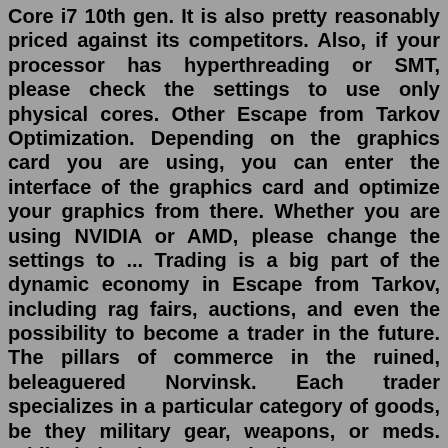Core i7 10th gen. It is also pretty reasonably priced against its competitors. Also, if your processor has hyperthreading or SMT, please check the settings to use only physical cores. Other Escape from Tarkov Optimization. Depending on the graphics card you are using, you can enter the interface of the graphics card and optimize your graphics from there. Whether you are using NVIDIA or AMD, please change the settings to ... Trading is a big part of the dynamic economy in Escape from Tarkov, including rag fairs, auctions, and even the possibility to become a trader in the future. The pillars of commerce in the ruined, beleaguered Norvinsk. Each trader specializes in a particular category of goods, be they military gear, weapons, or meds. While their prices are typically steep, you get what you pay for - and more ...To improve the gaming experience, we offer the following recommendations: Try different graphics settings and options to find the right profile for your computer. The "Use only physical cores" option will exclude the use of virtual processor cores and may improve the